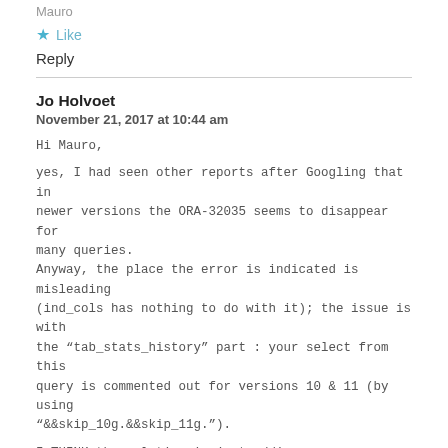Mauro
★ Like
Reply
Jo Holvoet
November 21, 2017 at 10:44 am
Hi Mauro,
yes, I had seen other reports after Googling that in newer versions the ORA-32035 seems to disappear for many queries.
Anyway, the place the error is indicated is misleading (ind_cols has nothing to do with it); the issue is with the "tab_stats_history" part : your select from this query is commented out for versions 10 & 11 (by using "&&skip_10g.&&skip_11g.").
I THINK the solution is just adding "&&skip_10g.&&skip_11g" to the front of lines 278 – 291 of file "sqld360_1f_observations.sql" (you then skip defining those parameters, or you will keep hitting that tion